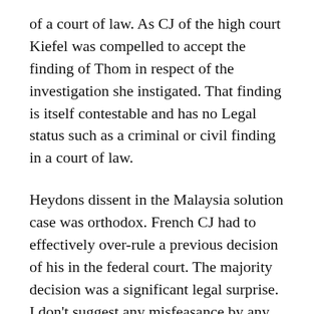of a court of law. As CJ of the high court Kiefel was compelled to accept the finding of Thom in respect of the investigation she instigated. That finding is itself contestable and has no Legal status such as a criminal or civil finding in a court of law.
Heydons dissent in the Malaysia solution case was orthodox. French CJ had to effectively over-rule a previous decision of his in the federal court. The majority decision was a significant legal surprise. I don't suggest any misfeasance by any of the judges in that case.
Heydons error in accepting the Liberal party speakers invitation was a serious misjudgment